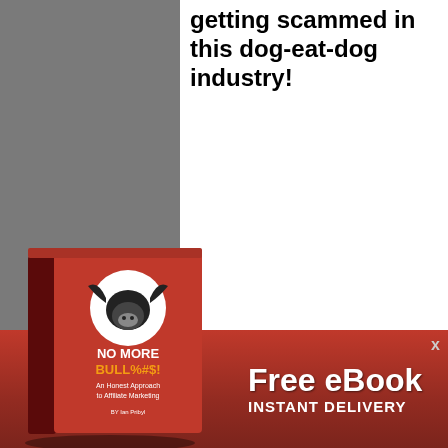getting scammed in this dog-eat-dog industry!
ZNZReviewed by Ian Pribyl on Feb 4. Summary: A product that is right for some, but not exactly right for just as many if not more Description: ZNZ One and ZNZ Big Cash are great for some people, but absolutely awful for some. This review explains how you know which side you fall on. Rating: 1.5 out of 5.
Related Posts:
[Figure (illustration): Red book cover titled NO MORE BULL%#$! An Honest Approach to Affiliate Marketing by Ian Pribyl, with a bull icon]
Free eBook INSTANT DELIVERY